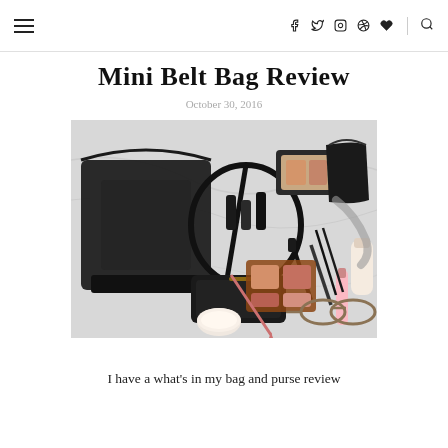≡  f  t  ◻  ⊕  ♥  🔍
Mini Belt Bag Review
October 30, 2016
[Figure (photo): Flat lay photo of a black leather belt bag/mini purse surrounded by various cosmetics and makeup items including lipsticks, compacts, mascara, lip gloss, sunglasses, and other beauty products scattered on a white marble surface.]
I have a what's in my bag and purse review